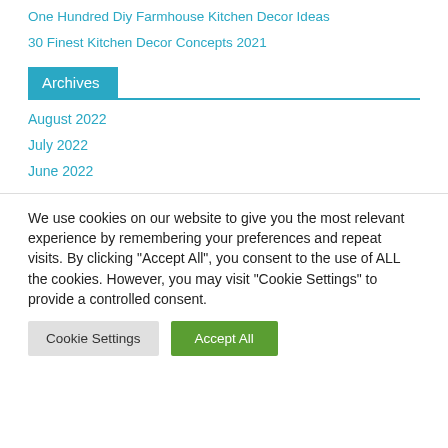One Hundred Diy Farmhouse Kitchen Decor Ideas
30 Finest Kitchen Decor Concepts 2021
Archives
August 2022
July 2022
June 2022
We use cookies on our website to give you the most relevant experience by remembering your preferences and repeat visits. By clicking “Accept All”, you consent to the use of ALL the cookies. However, you may visit "Cookie Settings" to provide a controlled consent.
Cookie Settings  Accept All